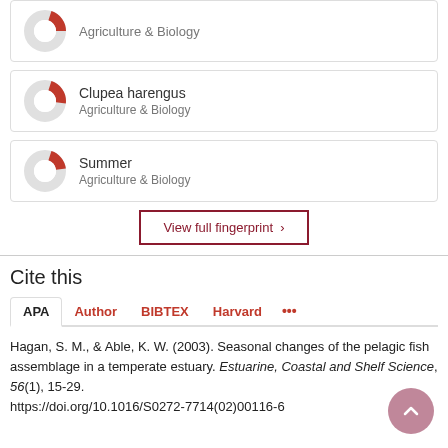[Figure (donut-chart): Partial donut chart icon for Clupea harengus, Agriculture & Biology]
Clupea harengus
Agriculture & Biology
[Figure (donut-chart): Partial donut chart icon for Summer, Agriculture & Biology]
Summer
Agriculture & Biology
View full fingerprint >
Cite this
APA  Author  BIBTEX  Harvard  ...
Hagan, S. M., & Able, K. W. (2003). Seasonal changes of the pelagic fish assemblage in a temperate estuary. Estuarine, Coastal and Shelf Science, 56(1), 15-29. https://doi.org/10.1016/S0272-7714(02)00116-6